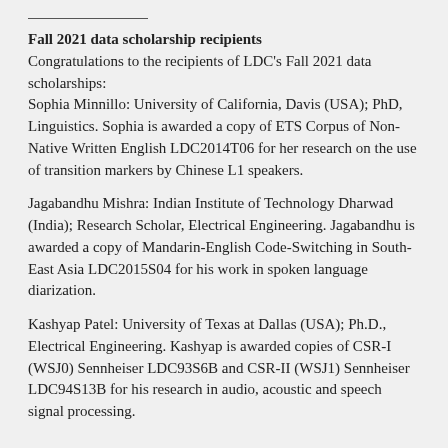Fall 2021 data scholarship recipients
Congratulations to the recipients of LDC's Fall 2021 data scholarships:
Sophia Minnillo: University of California, Davis (USA); PhD, Linguistics. Sophia is awarded a copy of ETS Corpus of Non-Native Written English LDC2014T06 for her research on the use of transition markers by Chinese L1 speakers.
Jagabandhu Mishra: Indian Institute of Technology Dharwad (India); Research Scholar, Electrical Engineering. Jagabandhu is awarded a copy of Mandarin-English Code-Switching in South-East Asia LDC2015S04 for his work in spoken language diarization.
Kashyap Patel: University of Texas at Dallas (USA); Ph.D., Electrical Engineering. Kashyap is awarded copies of CSR-I (WSJ0) Sennheiser LDC93S6B and CSR-II (WSJ1) Sennheiser LDC94S13B for his research in audio, acoustic and speech signal processing.